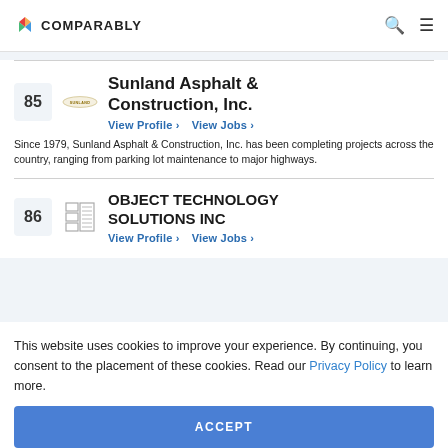COMPARABLY
85 Sunland Asphalt & Construction, Inc. View Profile › View Jobs › Since 1979, Sunland Asphalt & Construction, Inc. has been completing projects across the country, ranging from parking lot maintenance to major highways.
86 OBJECT TECHNOLOGY SOLUTIONS INC View Profile › View Jobs ›
This website uses cookies to improve your experience. By continuing, you consent to the placement of these cookies. Read our Privacy Policy to learn more.
ACCEPT